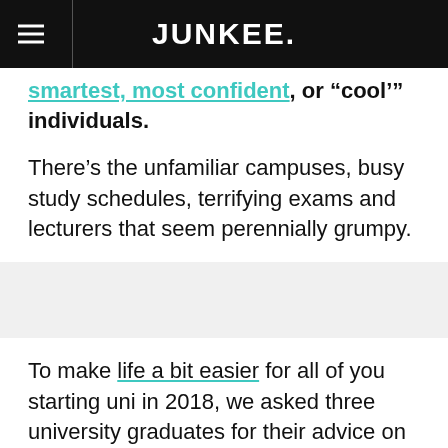JUNKEE.
smartest, most confident, or “cool’” individuals.
There’s the unfamiliar campuses, busy study schedules, terrifying exams and lecturers that seem perennially grumpy.
To make life a bit easier for all of you starting uni in 2018, we asked three university graduates for their advice on making the most of your tertiary education experience.